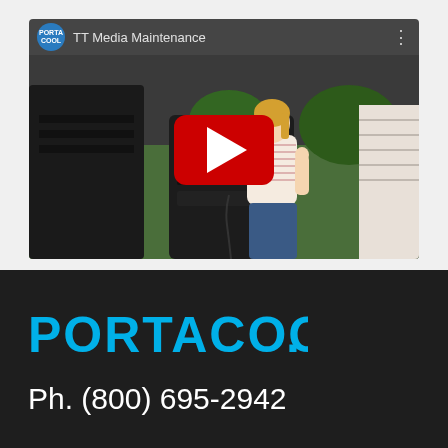[Figure (screenshot): YouTube video thumbnail showing a PortaCool branded video titled 'TT Media Maintenance'. A woman in a white striped shirt and jeans stands next to a dark portable evaporative cooler unit outdoors on a green lawn. A red YouTube play button is overlaid in the center. The video header shows the Portacool logo circle and channel name.]
[Figure (logo): PORTACOOL logo in bold cyan/blue uppercase letters on dark background]
Ph. (800) 695-2942